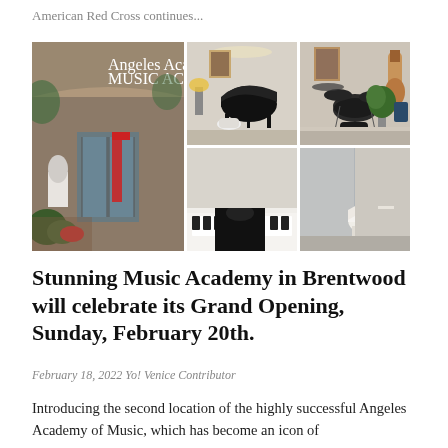American Red Cross continues...
[Figure (photo): Photo collage of Angeles Academy of Music in Brentwood: exterior storefront sign reading 'Angeles Academy Music Academy', interior room with grand piano, interior room with drum kit and guitar, young girl seated at white piano smiling, interior with white grand piano]
Stunning Music Academy in Brentwood will celebrate its Grand Opening, Sunday, February 20th.
February 18, 2022 Yo! Venice Contributor
Introducing the second location of the highly successful Angeles Academy of Music, which has become an icon of